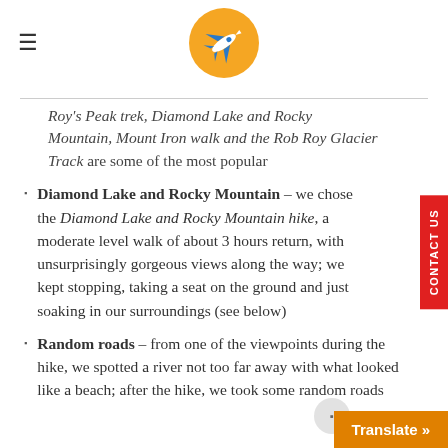[Figure (logo): Orange circle logo with a white airplane icon, travel blog logo]
Roy's Peak trek, Diamond Lake and Rocky Mountain, Mount Iron walk and the Rob Roy Glacier Track are some of the most popular
Diamond Lake and Rocky Mountain – we chose the Diamond Lake and Rocky Mountain hike, a moderate level walk of about 3 hours return, with unsurprisingly gorgeous views along the way; we kept stopping, taking a seat on the ground and just soaking in our surroundings (see below)
Random roads – from one of the viewpoints during the hike, we spotted a river not too far away with what looked like a beach; after the hike, we took some random roads